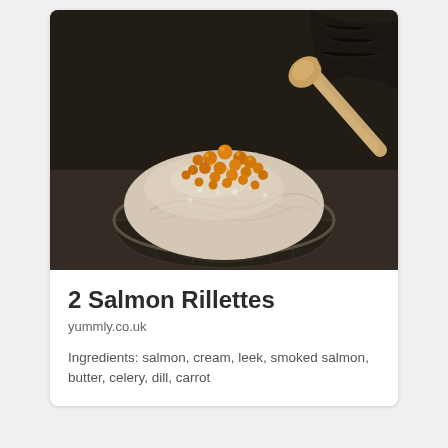[Figure (photo): Close-up photo of salmon rillettes in a glass bowl, topped with orange fish roe/caviar, with a wooden spoon visible on the right side. Dark moody background.]
2 Salmon Rillettes
yummly.co.uk
Ingredients: salmon, cream, leek, smoked salmon, butter, celery, dill, carrot